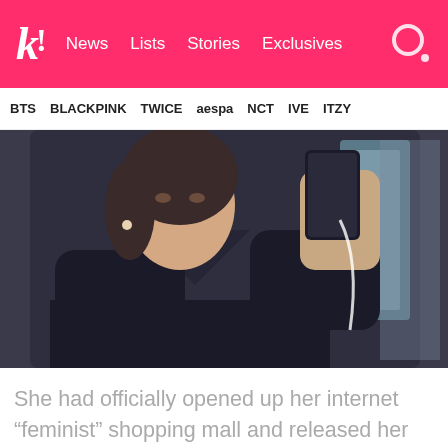k! News Lists Stories Exclusives
BTS BLACKPINK TWICE aespa NCT IVE ITZY
[Figure (photo): A person in a black sweater taking a mirror selfie, holding a phone up to the mirror in what appears to be a fitting room or bathroom setting.]
She had officially opened up her internet “feminist” shopping mall and released her first product.
[Figure (photo): Bottom portion of another photo showing a person, cropped at the bottom of the page.]